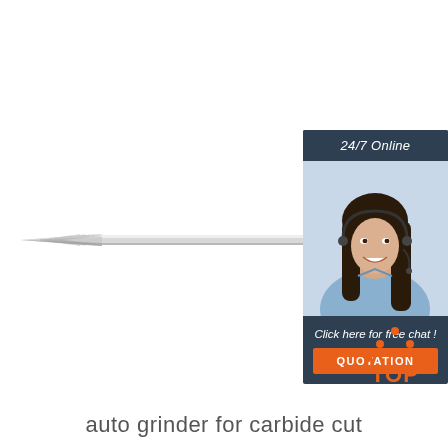[Figure (photo): Long tapered pointed carbide cutting tool / burr bit shown horizontally against white background]
[Figure (infographic): Customer service widget with '24/7 Online' header, photo of smiling woman with headset, 'Click here for free chat!' text, and orange QUOTATION button]
[Figure (logo): TOP logo with orange dotted triangle/chevron above the word TOP in orange]
auto grinder for carbide cut